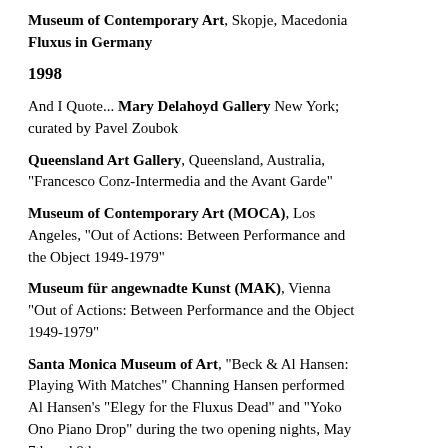Museum of Contemporary Art, Skopje, Macedonia Fluxus in Germany
1998
And I Quote... Mary Delahoyd Gallery New York; curated by Pavel Zoubok
Queensland Art Gallery, Queensland, Australia, "Francesco Conz-Intermedia and the Avant Garde"
Museum of Contemporary Art (MOCA), Los Angeles, "Out of Actions: Between Performance and the Object 1949-1979"
Museum für angewnadte Kunst (MAK), Vienna "Out of Actions: Between Performance and the Object 1949-1979"
Santa Monica Museum of Art, "Beck & Al Hansen: Playing With Matches" Channing Hansen performed Al Hansen's "Elegy for the Fluxus Dead" and "Yoko Ono Piano Drop" during the two opening nights, May 7th and 8th
Thread Waxing Space, New York, "Beck & Al